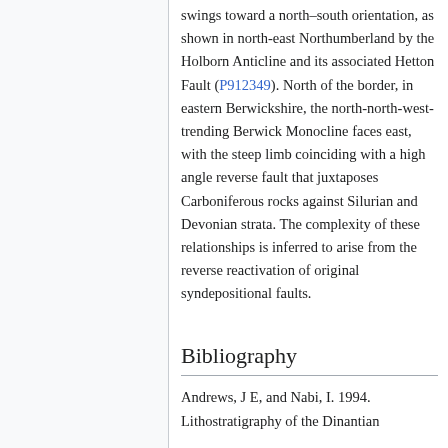swings toward a north–south orientation, as shown in north-east Northumberland by the Holborn Anticline and its associated Hetton Fault (P912349). North of the border, in eastern Berwickshire, the north-north-west-trending Berwick Monocline faces east, with the steep limb coinciding with a high angle reverse fault that juxtaposes Carboniferous rocks against Silurian and Devonian strata. The complexity of these relationships is inferred to arise from the reverse reactivation of original syndepositional faults.
Bibliography
Andrews, J E, and Nabi, I. 1994. Lithostratigraphy of the Dinantian